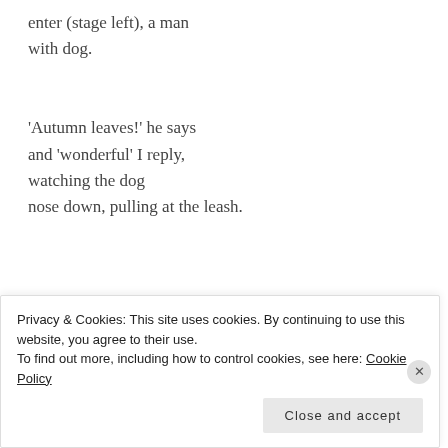enter (stage left), a man
with dog.

'Autumn leaves!' he says
and 'wonderful' I reply,
watching the dog
nose down, pulling at the leash.
[Figure (other): Advertisement banner for launching an online course with WordPress. Dark navy background with a bonsai tree icon, teal text 'Launch your online course with WordPress' and white 'Learn More' button.]
REPORT THIS AD
Privacy & Cookies: This site uses cookies. By continuing to use this website, you agree to their use.
To find out more, including how to control cookies, see here: Cookie Policy
Close and accept